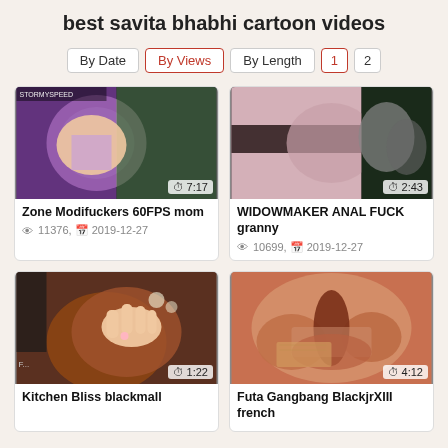best savita bhabhi cartoon videos
By Date | By Views | By Length | 1 | 2
[Figure (screenshot): Video thumbnail for Zone Modifuckers 60FPS mom, duration 7:17]
Zone Modifuckers 60FPS mom
👁 11376, 📅 2019-12-27
[Figure (screenshot): Video thumbnail for WIDOWMAKER ANAL FUCK granny, duration 2:43]
WIDOWMAKER ANAL FUCK granny
👁 10699, 📅 2019-12-27
[Figure (screenshot): Video thumbnail for Kitchen Bliss blackmall, duration 1:22]
Kitchen Bliss blackmall
[Figure (screenshot): Video thumbnail for Futa Gangbang BlackjrXIII french, duration 4:12]
Futa Gangbang BlackjrXIII french